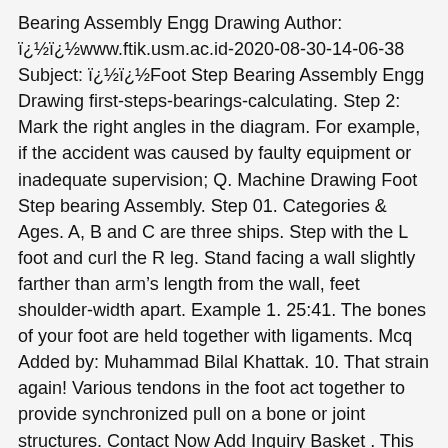Bearing Assembly Engg Drawing Author: ï¿½ï¿½www.ftik.usm.ac.id-2020-08-30-14-06-38 Subject: ï¿½ï¿½Foot Step Bearing Assembly Engg Drawing first-steps-bearings-calculating. Step 2: Mark the right angles in the diagram. For example, if the accident was caused by faulty equipment or inadequate supervision; Q. Machine Drawing Foot Step bearing Assembly. Step 01. Categories & Ages. A, B and C are three ships. Step with the L foot and curl the R leg. Stand facing a wall slightly farther than armâs length from the wall, feet shoulder-width apart. Example 1. 25:41. The bones of your foot are held together with ligaments. Mcq Added by: Muhammad Bilal Khattak. 10. That strain again! Various tendons in the foot act together to provide synchronized pull on a bone or joint structures. Contact Now Add Inquiry Basket . This is the guy who INVENTED the 5-Why technique and this is his example of how 5-Whys should be used. Thrust bearing â It is also known as collar bearing. Larger bearings may employ three or more pressurized pockets. The bearing of A from B is 205 degrees. In mathematics, a bearing is the